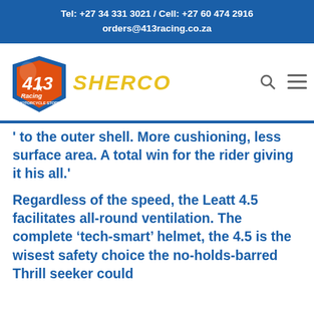Tel: +27 34 331 3021 / Cell: +27 60 474 2916
orders@413racing.co.za
[Figure (logo): 413 Racing Motorcycle Store logo with blue shield, orange number 413, and star. Sherco brand name in yellow italic text beside it.]
to the outer shell. More cushioning, less surface area. A total win for the rider giving it his all.

Regardless of the speed, the Leatt 4.5 facilitates all-round ventilation. The complete ‘tech-smart’ helmet, the 4.5 is the wisest safety choice the no-holds-barred Thrill seeker could